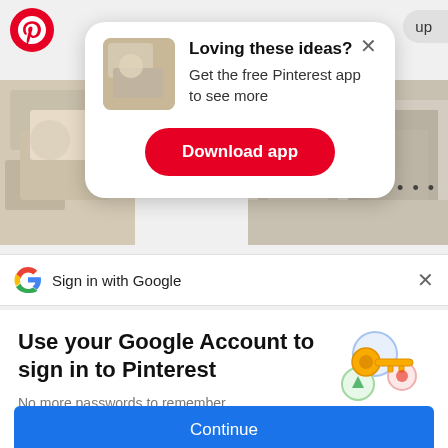[Figure (screenshot): Pinterest app background with kitchen/interior images]
Loving these ideas? Get the free Pinterest app to see more
Download app
Sign in with Google
Use your Google Account to sign in to Pinterest
No more passwords to remember. Signing in is fast, simple and secure.
Continue